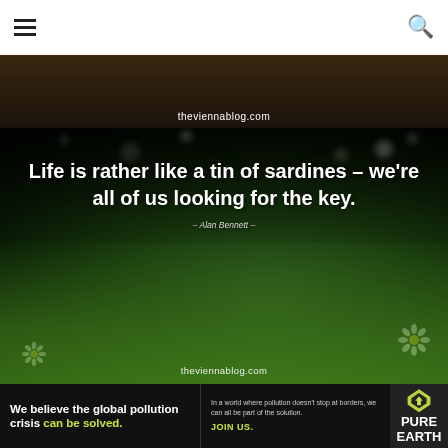[Figure (screenshot): Navigation bar with hamburger menu icon on left and search icon on right, white background]
[Figure (photo): Top banner strip showing theviennablog.com URL over dark nature background]
[Figure (photo): Quote image with green bokeh nature/garden background showing white daisies. Quote text: 'Life is rather like a tin of sardines – we're all of us looking for the key.' attributed to Alan Bennett, with theviennablog.com watermark at bottom]
[Figure (infographic): Advertisement banner for Pure Earth: 'We believe the global pollution crisis can be solved.' with green highlighted text, body copy 'In a world where pollution doesn't stop at borders, we can all be part of the solution. JOIN US.' and Pure Earth logo on right]